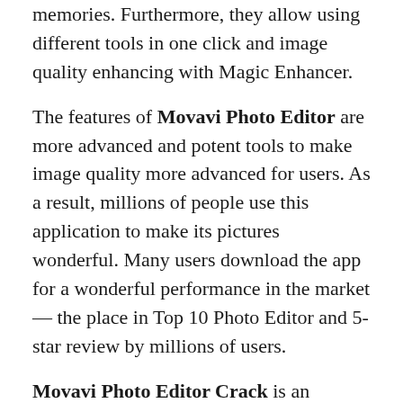memories. Furthermore, they allow using different tools in one click and image quality enhancing with Magic Enhancer.
The features of Movavi Photo Editor are more advanced and potent tools to make image quality more advanced for users. As a result, millions of people use this application to make its pictures wonderful. Many users download the app for a wonderful performance in the market — the place in Top 10 Photo Editor and 5-star review by millions of users.
Movavi Photo Editor Crack is an impressive photo editing application designed to allow you to rotate, crop, and resize images? Take advantage of image quality improvements with one click with Magic Enhance or try advanced colour correction tools for maximum accuracy. Make portraits with portraits using